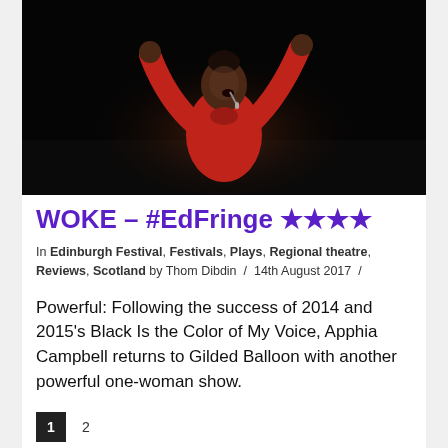[Figure (photo): A performer in a red outfit on a dark stage, arms raised above her head, mouth open in expression, spotlight on her against a black background.]
WOKE – #EdFringe ★★★★
In Edinburgh Festival, Festivals, Plays, Regional theatre, Reviews, Scotland by Thom Dibdin / 14th August 2017 /
Powerful: Following the success of 2014 and 2015's Black Is the Color of My Voice, Apphia Campbell returns to Gilded Balloon with another powerful one-woman show.
1  2